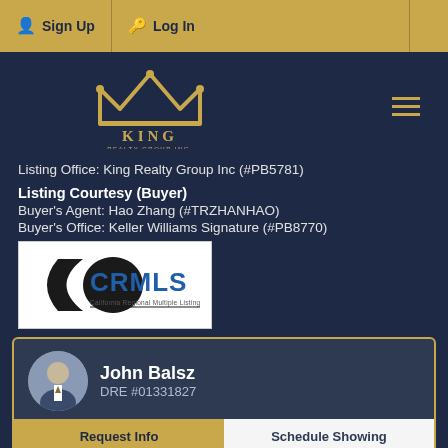Sign Up | Log In
[Figure (logo): King Realty Group Inc crown logo in gold on dark navy background]
Listing Office: King Realty Group Inc (#PB5781)
Listing Courtesy (Buyer)
Buyer's Agent: Hao Zhang (#TRZHANHAO)
Buyer's Office: Keller Williams Signature (#PB8770)
[Figure (logo): CRMLS California Regional Multiple Listing Service, Inc. logo]
John Balsz
DRE #01331827
Request Info | Schedule Showing